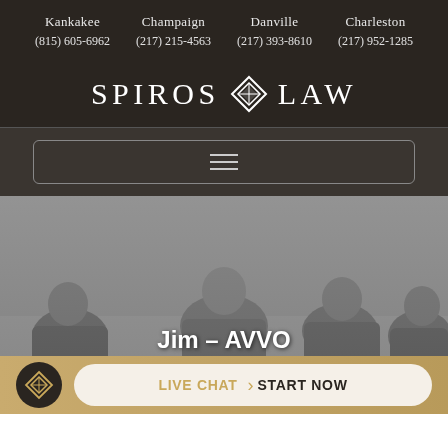Kankakee (815) 605-6962 | Champaign (217) 215-4563 | Danville (217) 393-8610 | Charleston (217) 952-1285
SPIROS LAW
[Figure (screenshot): Navigation hamburger menu button in a rounded rectangle]
[Figure (photo): Black and white photo of legal professionals seated at a table, with the text overlay 'Jim – AVVO']
Jim – AVVO
LIVE CHAT  START NOW